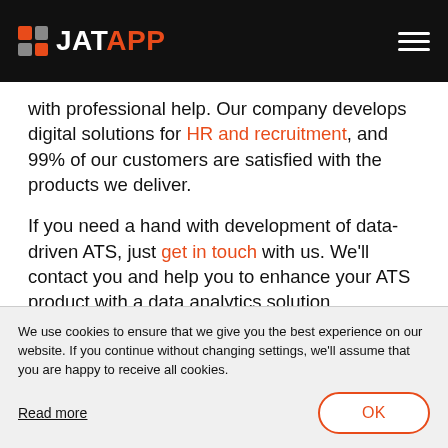JATAPP
with professional help. Our company develops digital solutions for HR and recruitment, and 99% of our customers are satisfied with the products we deliver.
If you need a hand with development of data-driven ATS, just get in touch with us. We’ll contact you and help you to enhance your ATS product with a data analytics solution.
We use cookies to ensure that we give you the best experience on our website. If you continue without changing settings, we'll assume that you are happy to receive all cookies.
Read more
OK